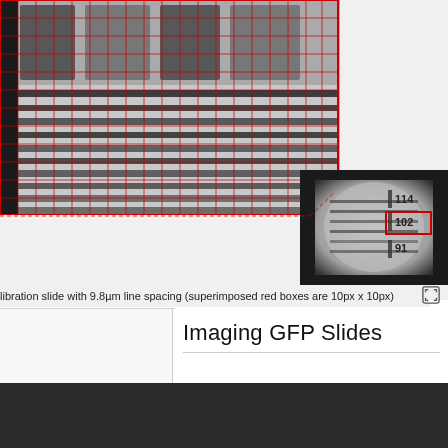[Figure (photo): Microscopy calibration slide image with 9.8µm line spacing, zoomed in view overlaid with red grid boxes (10px x 10px). Grayscale image showing horizontal line pattern with blurred text at top. A smaller inset image at lower right shows the same slide at lower magnification with numbers 114, 102, 91 visible and a red box highlighting the 102 region. A dashed red line connects the main zoomed area to the inset.]
libration slide with 9.8µm line spacing (superimposed red boxes are 10px x 10px)
Imaging GFP Slides